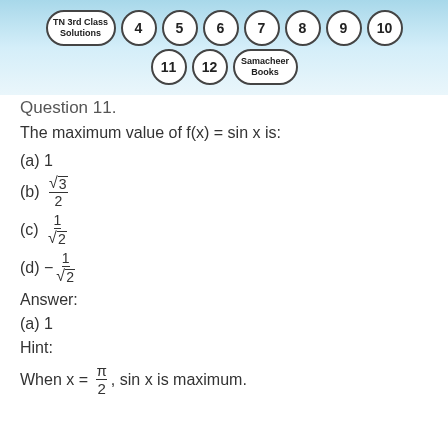TN 3rd Class Solutions | 4 5 6 7 8 9 10 | 11 12 Samacheer Books
Question 11.
The maximum value of f(x) = sin x is:
(a) 1
(b) √3 / 2
(c) 1 / √2
(d) −1 / √2
Answer:
(a) 1
Hint:
When x = π/2, sin x is maximum.